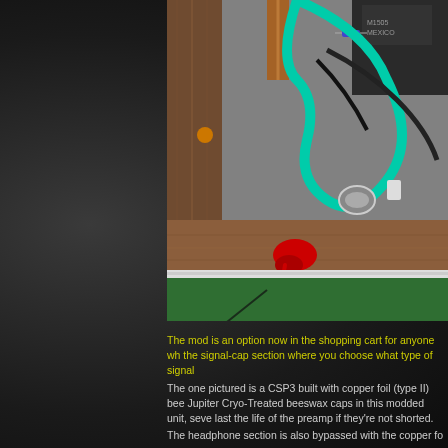[Figure (photo): Close-up photo of electronic components inside an audio preamplifier enclosure. Shows a wooden frame with grey foam/carpet lining, green-coated wires, a teal/green coaxial cable looping around components, black electronic parts, a visible capacitor or component labeled M1505 Mexico, a red drip/blob on the wooden frame near the bottom, and green carpet visible at the bottom edge.]
The mod is an option now in the shopping cart for anyone wh the signal-cap section where you choose what type of signal
The one pictured is a CSP3 built with copper foil (type II) bee Jupiter Cryo-Treated beeswax caps in this modded unit, seve last the life of the preamp if they're not shorted.
The headphone section is also bypassed with the copper fo